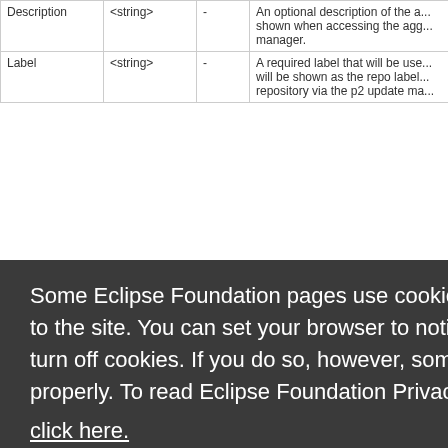| Description | <string> | - | An optional description of the a... shown when accessing the agg... manager. |
| --- | --- | --- | --- |
| Label | <string> | - | A required label that will be use... will be shown as the repo label... repository via the p2 update ma... |
Mappings a... ee Maven M... tructure of... ll be Maven... gregated re...
e flexibility... location of a... function as...
ls how pac... dled when... urce contain... No further a... s copy but u...
|  | Skip |  | ing - same... store the result as a sibling... |
Some Eclipse Foundation pages use cookies to better serve you when you return to the site. You can set your browser to notify you before you receive a cookie or turn off cookies. If you do so, however, some areas of some sites may not function properly. To read Eclipse Foundation Privacy Policy click here.